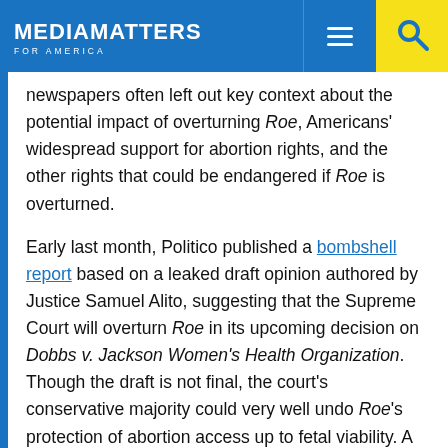MEDIA MATTERS FOR AMERICA
newspapers often left out key context about the potential impact of overturning Roe, Americans' widespread support for abortion rights, and the other rights that could be endangered if Roe is overturned.
Early last month, Politico published a bombshell report based on a leaked draft opinion authored by Justice Samuel Alito, suggesting that the Supreme Court will overturn Roe in its upcoming decision on Dobbs v. Jackson Women's Health Organization. Though the draft is not final, the court's conservative majority could very well undo Roe's protection of abortion access up to fetal viability. A decision is expected on the Dobbs case, in which the state of Mississippi directly asks the court to overturn Roe, before the court's summer recess begins in late